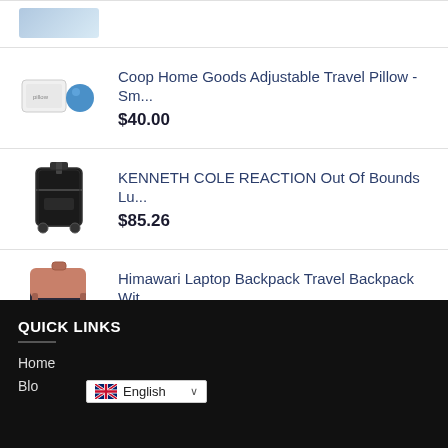[Figure (photo): Partial product image at top (blue/light colored item, cropped)]
Coop Home Goods Adjustable Travel Pillow -Sm...
$40.00
[Figure (photo): Black hard-shell rolling luggage suitcase]
KENNETH COLE REACTION Out Of Bounds Lu...
$85.26
[Figure (photo): Pink and black Himawari laptop backpack]
Himawari Laptop Backpack Travel Backpack Wit...
$39.99
QUICK LINKS
Home
Blo
English